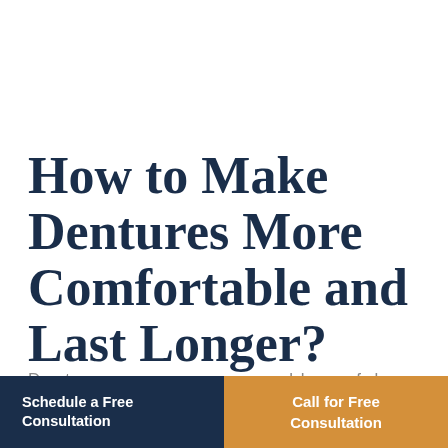How to Make Dentures More Comfortable and Last Longer?
Dentures are removable false teeth
Schedule a Free Consultation
Call for Free Consultation